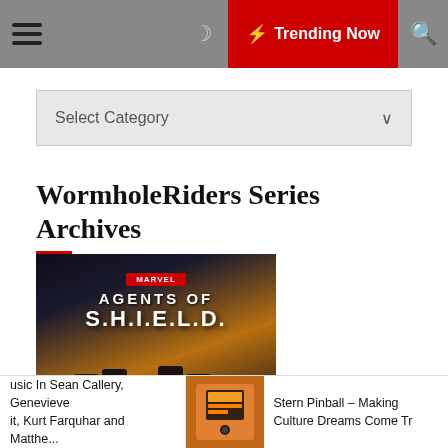☰  ☽  ⚡ Trending Now  🔍
Select Category
WormholeRiders Series Archives
[Figure (photo): Marvel Agents of S.H.I.E.L.D. promotional image with cast members standing in front of the show logo on a dark sci-fi background]
usic In Sean Callery, Genevieve
it, Kurt Farquhar and Matthe...
[Figure (photo): Thumbnail image of a Stern Pinball machine]
Stern Pinball – Making
Culture Dreams Come Tr